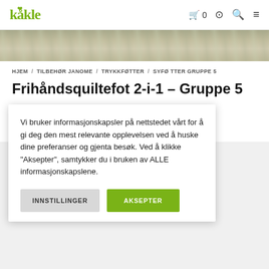Kákle — navigation header with logo, cart (0), account, search, and menu icons
[Figure (photo): Hero banner image strip showing fabric/textile texture in muted olive and beige tones]
HJEM / TILBEHØR JANOME / TRYKKFØTTER / SYFØ TTER GRUPPE 5
Frihåndsquiltefot 2-i-1 – Gruppe 5
Vi bruker informasjonskapsler på nettstedet vårt for å gi deg den mest relevante opplevelsen ved å huske dine preferanser og gjenta besøk. Ved å klikke "Aksepter", samtykker du i bruken av ALLE informasjonskapslene.
INNSTILLINGER   AKSEPTER